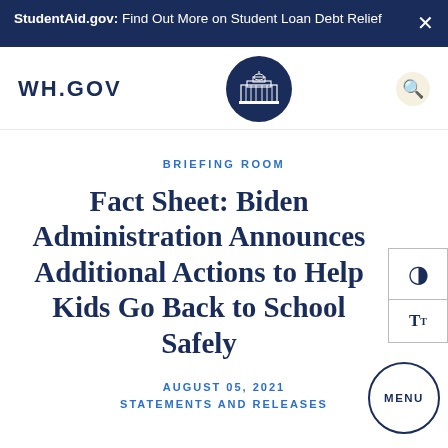StudentAid.gov: Find Out More on Student Loan Debt Relief
[Figure (screenshot): WH.GOV navigation bar with White House seal logo and search icon]
BRIEFING ROOM
Fact Sheet: Biden Administration Announces Additional Actions to Help Kids Go Back to School Safely
AUGUST 05, 2021
STATEMENTS AND RELEASES